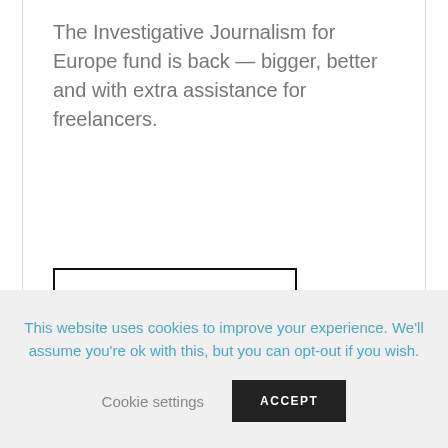The Investigative Journalism for Europe fund is back — bigger, better and with extra assistance for freelancers.
READ MORE
This website uses cookies to improve your experience. We'll assume you're ok with this, but you can opt-out if you wish.
Cookie settings
ACCEPT